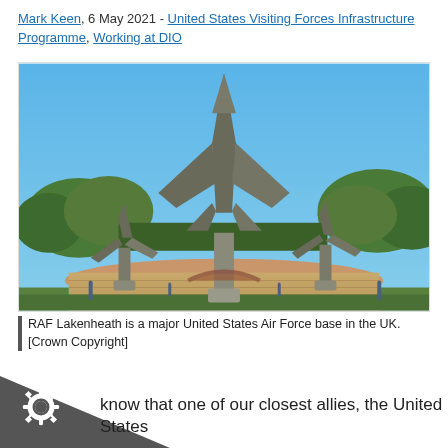Mark Keen, 6 May 2021 - United States Visiting Forces Infrastructure Programme, Working at DIO
[Figure (photo): Outdoor photo of RAF Lakenheath air base showing a large aircraft or rocket monument displayed vertically on concrete pillars in a circular brick plaza, surrounded by trees and grass under a clear blue sky.]
RAF Lakenheath is a major United States Air Force base in the UK. [Crown Copyright]
know that one of our closest allies, the United States